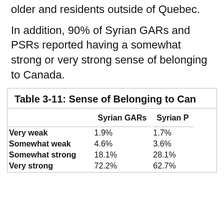older and residents outside of Quebec. In addition, 90% of Syrian GARs and PSRs reported having a somewhat strong or very strong sense of belonging to Canada.
|  | Syrian GARs | Syrian P |
| --- | --- | --- |
| Very weak | 1.9% | 1.7% |
| Somewhat weak | 4.6% | 3.6% |
| Somewhat strong | 18.1% | 28.1% |
| Very strong | 72.2% | 62.7% |